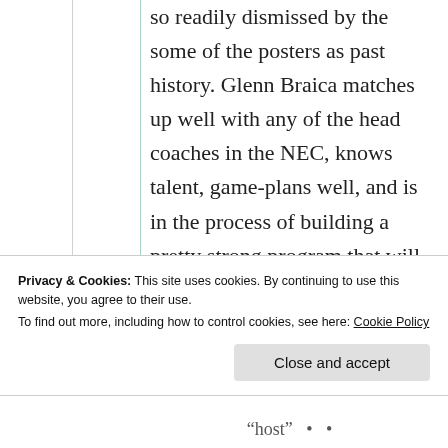so readily dismissed by the some of the posters as past history. Glenn Braica matches up well with any of the head coaches in the NEC, knows talent, game-plans well, and is in the process of building a pretty strong program that will sustain itself. Although
Privacy & Cookies: This site uses cookies. By continuing to use this website, you agree to their use. To find out more, including how to control cookies, see here: Cookie Policy
Close and accept